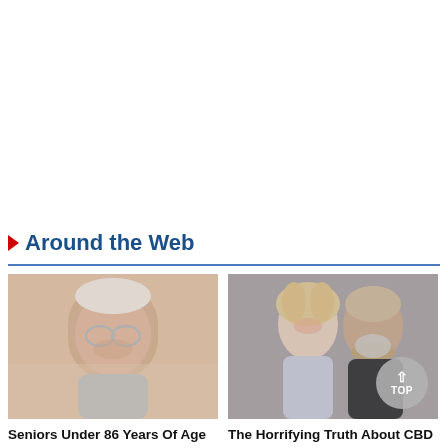Around the Web
[Figure (photo): Close-up photo of an elderly man with glasses and grey hair]
Seniors Under 86 Years Of Age Get Up To $250k in Life Insurance for $15/month
[Figure (photo): Photo of a smiling couple, woman with blonde hair and man with grey beard]
The Horrifying Truth About CBD